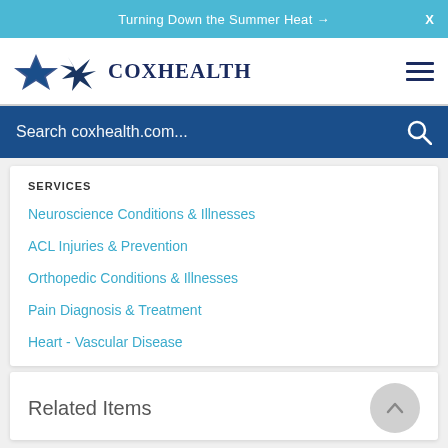Turning Down the Summer Heat →
[Figure (logo): CoxHealth logo with star/compass icon and stylized text]
Search coxhealth.com...
SERVICES
Neuroscience Conditions & Illnesses
ACL Injuries & Prevention
Orthopedic Conditions & Illnesses
Pain Diagnosis & Treatment
Heart - Vascular Disease
Related Items